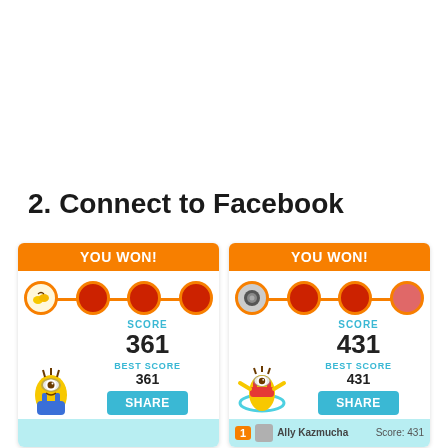2. Connect to Facebook
[Figure (screenshot): Two mobile game score cards side by side. Left card shows YOU WON! with score 361 and best score 361, a minion character, and a SHARE button. Right card shows YOU WON! with score 431 and best score 431, a minion with hula hoop, and a SHARE button. Each card has a progress bar with fruit/orb icons. Below is a leaderboard bar showing rank 1, Ally Kazmucha, Score: 431.]